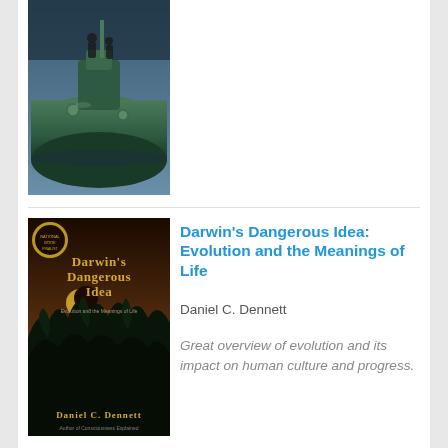[Figure (photo): Partial book cover showing a sci-fi scene with a large green submarine or vehicle and figures]
[Figure (photo): Book cover of Darwin's Dangerous Idea: Evolution and the Meanings of Life by Daniel C. Dennett, dark cover with jungle scene]
Darwin's Dangerous Idea: Evolution and the Meanings of Life
Daniel C. Dennett
Great overview of evolution and its impact on human culture and progress.
[Figure (photo): Book cover of Checkpoint Lambda by Murray Leinster, black cover with yellow title text]
Checkpoint Lambda
Murray Leinster
Leinster pulp adventure.